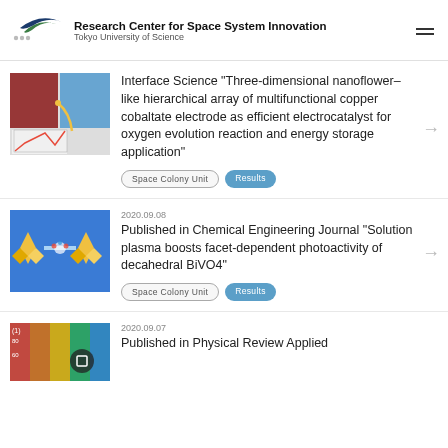Research Center for Space System Innovation
Tokyo University of Science
Interface Science “Three-dimensional nanoflower–like hierarchical array of multifunctional copper cobaltate electrode as efficient electrocatalyst for oxygen evolution reaction and energy storage application”
Space Colony Unit   Results
2020.09.08
Published in Chemical Engineering Journal “Solution plasma boosts facet-dependent photoactivity of decahedral BiVO4”
Space Colony Unit   Results
2020.09.07
Published in Physical Review Applied